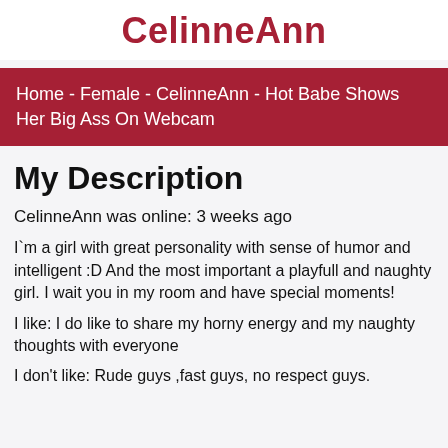CelinneAnn
Home - Female - CelinneAnn - Hot Babe Shows Her Big Ass On Webcam
My Description
CelinneAnn was online: 3 weeks ago
I`m a girl with great personality with sense of humor and intelligent :D And the most important a playfull and naughty girl. I wait you in my room and have special moments!
I like: I do like to share my horny energy and my naughty thoughts with everyone
I don't like: Rude guys ,fast guys, no respect guys.